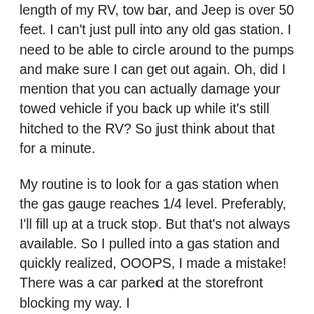length of my RV, tow bar, and Jeep is over 50 feet. I can't just pull into any old gas station. I need to be able to circle around to the pumps and make sure I can get out again. Oh, did I mention that you can actually damage your towed vehicle if you back up while it's still hitched to the RV? So just think about that for a minute.
My routine is to look for a gas station when the gas gauge reaches 1/4 level. Preferably, I'll fill up at a truck stop. But that's not always available. So I pulled into a gas station and quickly realized, OOOPS, I made a mistake! There was a car parked at the storefront blocking my way. I